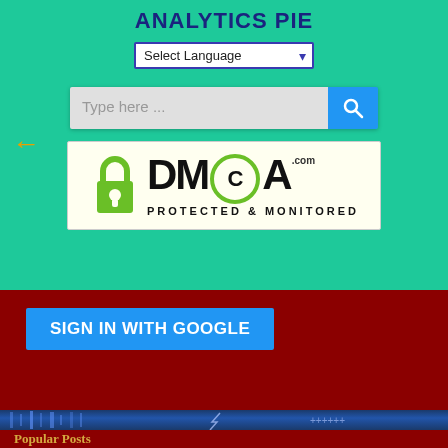ANALYTICS PIE
[Figure (screenshot): Select Language dropdown widget]
[Figure (screenshot): Search bar with text input 'Type here ...' and blue search button]
[Figure (logo): DMCA Protected & Monitored badge with green padlock icon on cream background]
SIGN IN WITH GOOGLE
[Figure (photo): Blue decorative strip with vertical bars and lightning bolt elements]
Popular Posts
[Figure (photo): Bottom partial image with olive/green tones - blog post thumbnail]